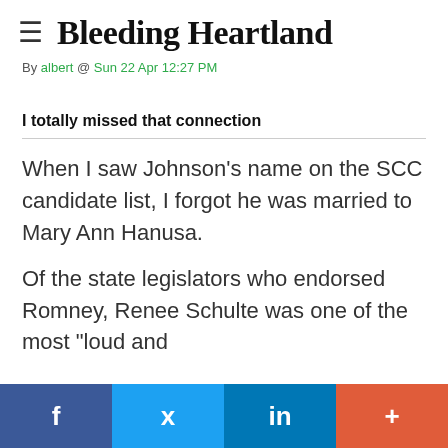≡  Bleeding Heartland
By albert @ Sun 22 Apr 12:27 PM
I totally missed that connection
When I saw Johnson's name on the SCC candidate list, I forgot he was married to Mary Ann Hanusa.
Of the state legislators who endorsed Romney, Renee Schulte was one of the most "loud and
f   🐦   in   +